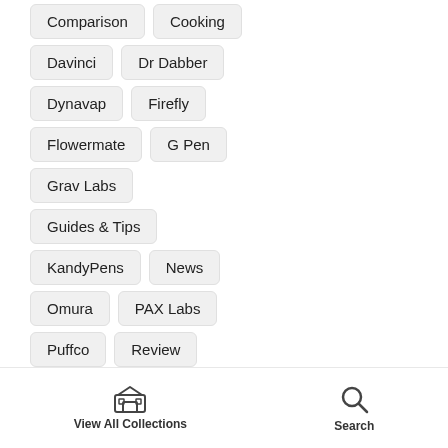Comparison  Cooking
Davinci  Dr Dabber
Dynavap  Firefly
Flowermate  G Pen
Grav Labs
Guides & Tips
KandyPens  News
Omura  PAX Labs
Puffco  Review
Shatterizer  Stor
View All Collections  Search